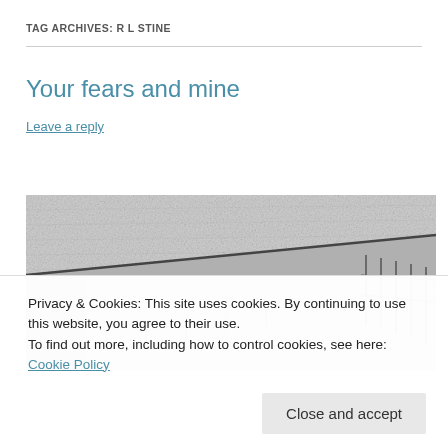TAG ARCHIVES: R L STINE
Your fears and mine
Leave a reply
[Figure (photo): Black and white pencil sketch or photograph of a building rooftop/angular architectural structure with textured sky, viewed from a low angle.]
Privacy & Cookies: This site uses cookies. By continuing to use this website, you agree to their use.
To find out more, including how to control cookies, see here: Cookie Policy
Close and accept